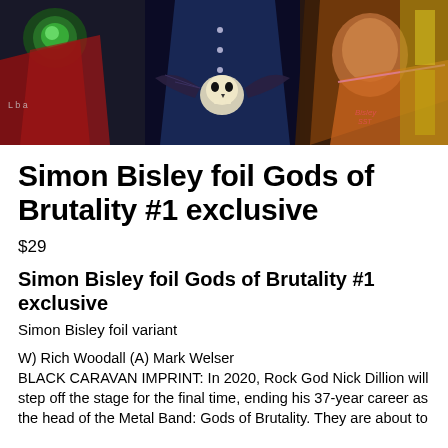[Figure (illustration): Comic book style illustration showing dark fantasy figures with skull and bat-wing imagery, colored in blues, reds, greens and yellows. Artist signature 'Bisley' visible in lower right of image.]
Simon Bisley foil Gods of Brutality #1 exclusive
$29
Simon Bisley foil Gods of Brutality #1 exclusive
Simon Bisley foil variant
W) Rich Woodall (A) Mark Welser
BLACK CARAVAN IMPRINT: In 2020, Rock God Nick Dillion will step off the stage for the final time, ending his 37-year career as the head of the Metal Band: Gods of Brutality. They are about to